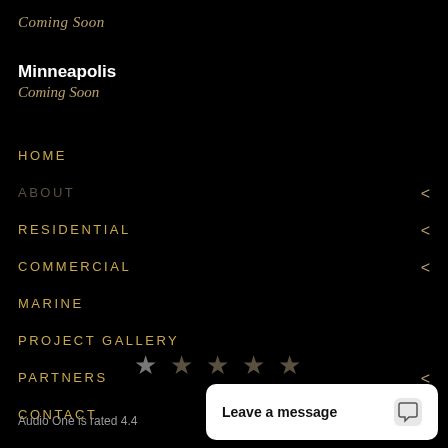Coming Soon
Minneapolis
Coming Soon
HOME
ABOUT
RESIDENTIAL
COMMERCIAL
MARINE
PROJECT GALLERY
PARTNERS
CONTACT
[Figure (other): Star rating row with 5 stars (one filled dark, four outlined/dim)]
Audio One is rated 4.4
[Figure (screenshot): White chat widget popup with text 'Leave a message' and chat icon]